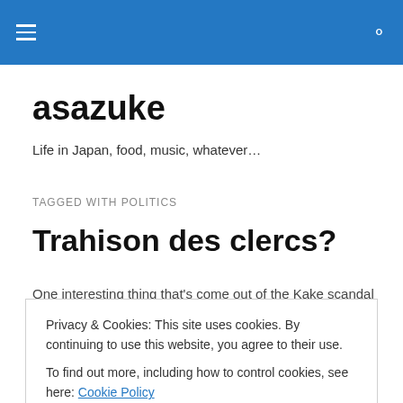asazuke — header bar with hamburger menu and search icon
asazuke
Life in Japan, food, music, whatever…
TAGGED WITH POLITICS
Trahison des clercs?
One interesting thing that's come out of the Kake scandal
Privacy & Cookies: This site uses cookies. By continuing to use this website, you agree to their use.
To find out more, including how to control cookies, see here: Cookie Policy
servants to benefit his … Continue reading →